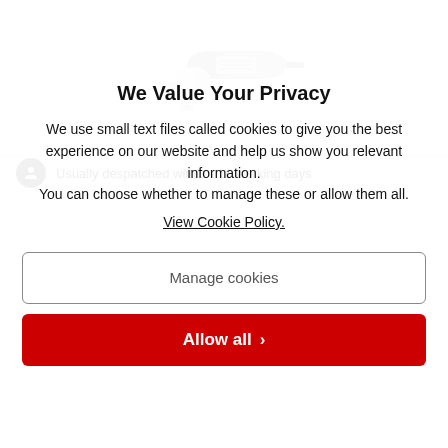[Figure (photo): Small white electric motor/pump product photo on white background]
Usually despatched within - 10 working days
We Value Your Privacy
We use small text files called cookies to give you the best experience on our website and help us show you relevant information.
You can choose whether to manage these or allow them all.
View Cookie Policy.
Manage cookies
Allow all >